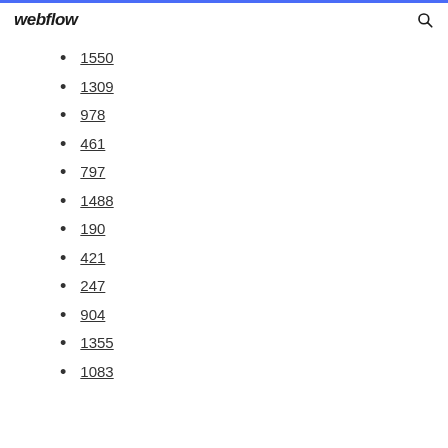webflow
1550
1309
978
461
797
1488
190
421
247
904
1355
1083